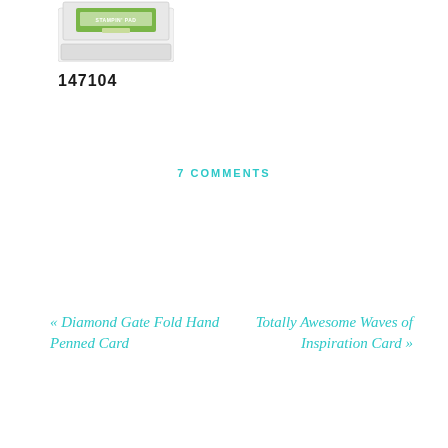[Figure (photo): A Stampin' Pad ink pad product with green label, white body, viewed from top at slight angle]
147104
7 COMMENTS
« Diamond Gate Fold Hand Penned Card
Totally Awesome Waves of Inspiration Card »